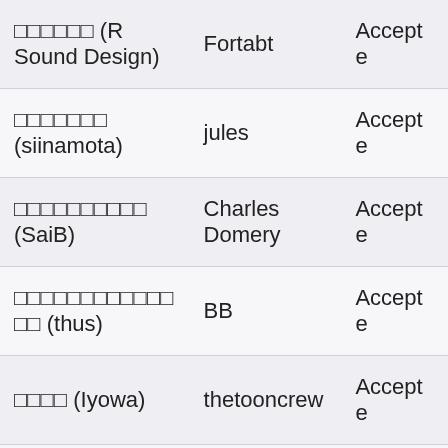| Name | User | Status |
| --- | --- | --- |
| □□□□□□ (R Sound Design) | Fortabt | Accepte |
| □□□□□□□ (siinamota) | jules | Accepte |
| □□□□□□□□□□ (SaiB) | Charles Domery | Accepte |
| □□□□□□□□□□□□□□ (thus) | BB | Accepte |
| □□□□ (Iyowa) | thetooncrew | Accepte |
| □□□ (Kokoro Sagara) | liztiger | Accepte |